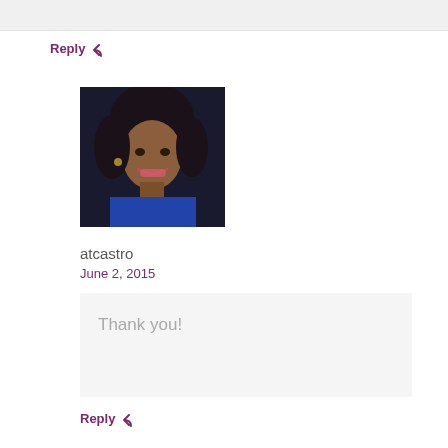Reply ↩
[Figure (photo): Profile photo of a smiling woman with dark curly hair wearing a blue top]
atcastro
June 2, 2015
Thank you!
Reply ↩